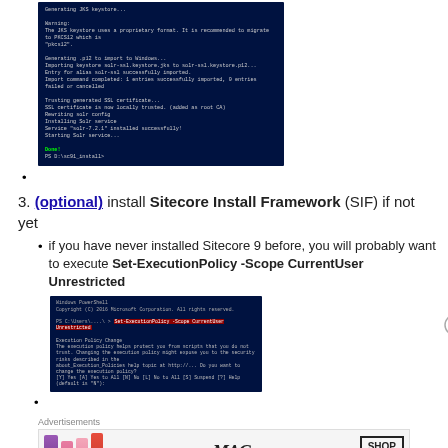[Figure (screenshot): Terminal screenshot showing JKS keystore generation, SSL certificate trust, Solr service installation and start, with green 'Done!' and PS D:\sc91_install> prompt]
(bullet point for terminal screenshot above)
3. (optional) install Sitecore Install Framework (SIF) if not yet
if you have never installed Sitecore 9 before, you will probably want to execute Set-ExecutionPolicy -Scope CurrentUser Unrestricted
[Figure (screenshot): PowerShell terminal screenshot showing Set-ExecutionPolicy -Scope CurrentUser Unrestricted command highlighted in red box]
Advertisements
[Figure (photo): MAC cosmetics advertisement with lipsticks and SHOP NOW button]